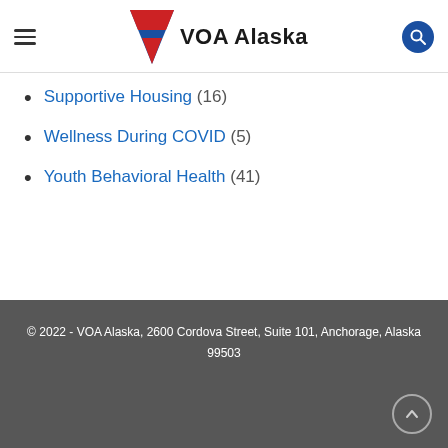VOA Alaska
Supportive Housing (16)
Wellness During COVID (5)
Youth Behavioral Health (41)
© 2022 - VOA Alaska, 2600 Cordova Street, Suite 101, Anchorage, Alaska 99503